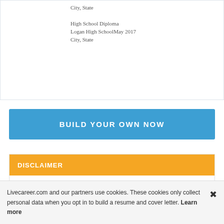City, State
High School Diploma
Logan High SchoolMay 2017
City, State
BUILD YOUR OWN NOW
DISCLAIMER
Resumes, and other information uploaded or provided by the user, are considered User Content governed by our Terms & Conditions. As such, it is not owned by us, and it is the user who retains ownership over such content.
Livecareer.com and our partners use cookies. These cookies only collect personal data when you opt in to build a resume and cover letter. Learn more